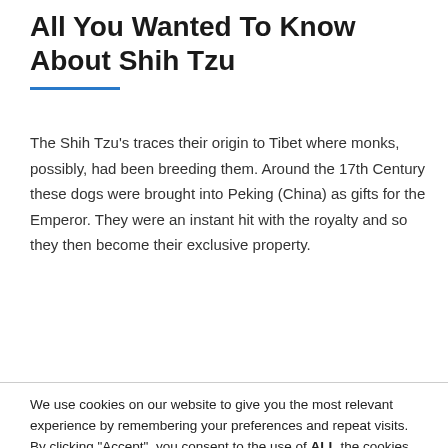All You Wanted To Know About Shih Tzu
The Shih Tzu's traces their origin to Tibet where monks, possibly, had been breeding them. Around the 17th Century these dogs were brought into Peking (China) as gifts for the Emperor. They were an instant hit with the royalty and so they then become their exclusive property.
CONTINUE READING
We use cookies on our website to give you the most relevant experience by remembering your preferences and repeat visits. By clicking “Accept”, you consent to the use of ALL the cookies.
Do not sell my personal information.
Cookie Settings
Accept